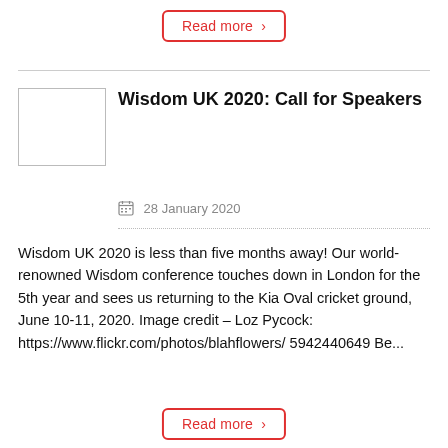Read more >
Wisdom UK 2020: Call for Speakers
28 January 2020
Wisdom UK 2020 is less than five months away! Our world-renowned Wisdom conference touches down in London for the 5th year and sees us returning to the Kia Oval cricket ground, June 10-11, 2020. Image credit – Loz Pycock: https://www.flickr.com/photos/blahflowers/5942440649 Be...
Read more >